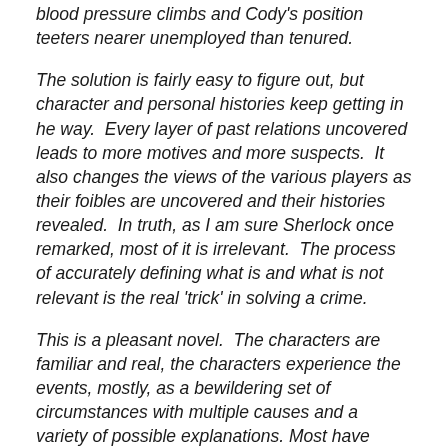blood pressure climbs and Cody's position teeters nearer unemployed than tenured.
The solution is fairly easy to figure out, but character and personal histories keep getting in he way. Every layer of past relations uncovered leads to more motives and more suspects. It also changes the views of the various players as their foibles are uncovered and their histories revealed. In truth, as I am sure Sherlock once remarked, most of it is irrelevant. The process of accurately defining what is and what is not relevant is the real 'trick' in solving a crime.
This is a pleasant novel. The characters are familiar and real, the characters experience the events, mostly, as a bewildering set of circumstances with multiple causes and a variety of possible explanations. Most have some understanding of crime solving, but are unable to make any sense out of events or are blinded by personal